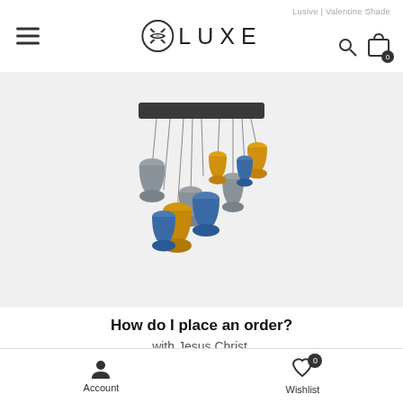Lusive | Valentine Shade
[Figure (logo): XLUXE brand logo with circular X icon and spaced lettering]
[Figure (photo): Multi-colored glass pendant chandelier with grey, amber/gold, and blue glass shades hanging from a rectangular black ceiling plate]
How do I place an order?
with Jesus Christ.
Account   Wishlist